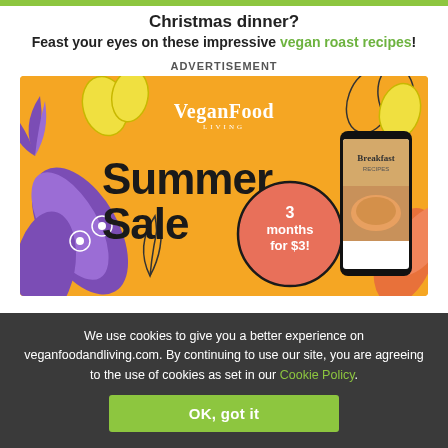Christmas dinner?
Feast your eyes on these impressive vegan roast recipes!
ADVERTISEMENT
[Figure (illustration): Vegan Food & Living Summer Sale advertisement banner on yellow/orange background with tropical leaf decorations. Features 'Summer Sale 3 months for $3!' text and a phone showing 'Breakfast Recipes' magazine cover.]
We use cookies to give you a better experience on veganfoodandliving.com. By continuing to use our site, you are agreeing to the use of cookies as set in our Cookie Policy.
OK, got it